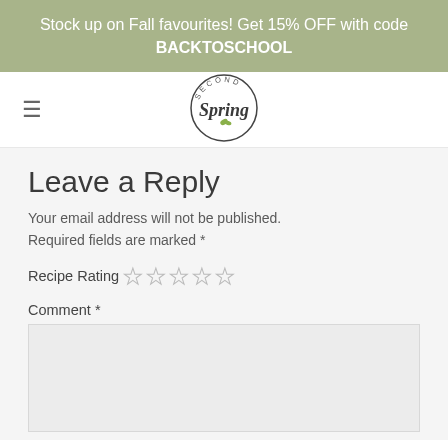Stock up on Fall favourites! Get 15% OFF with code BACKTOSCHOOL
[Figure (logo): Second Spring logo — circular badge with stylized script 'Spring' text and small green leaf, with 'SECOND' text at top arc]
Leave a Reply
Your email address will not be published. Required fields are marked *
Recipe Rating ☆☆☆☆☆
Comment *